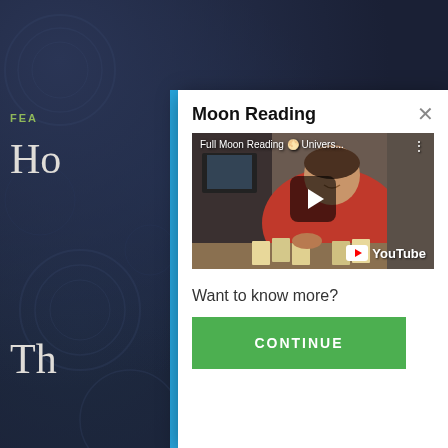[Figure (screenshot): Dark themed website background with swirl patterns, partially visible text 'FEA', 'Ho', and 'Th'. A modal dialog overlays the page showing a Moon Reading popup with a YouTube video thumbnail, 'Want to know more?' text, and a green CONTINUE button. A blue vertical bar separates the background from the modal. Close button (×) is visible in the top right of modal.]
Moon Reading
Full Moon Reading 🌕 Univers...
Want to know more?
CONTINUE